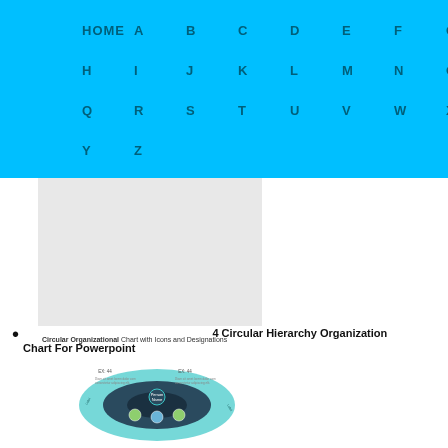HOME A B C D E F G H I J K L M N O P Q R S T U V W X Y Z
[Figure (other): Gray thumbnail placeholder box for circular org chart image]
4 Circular Hierarchy Organization Chart For Powerpoint
Circular Organizational Chart with Icons and Designations
[Figure (organizational-chart): Circular organizational chart with icons and designations, teal/dark color scheme showing hierarchy levels]